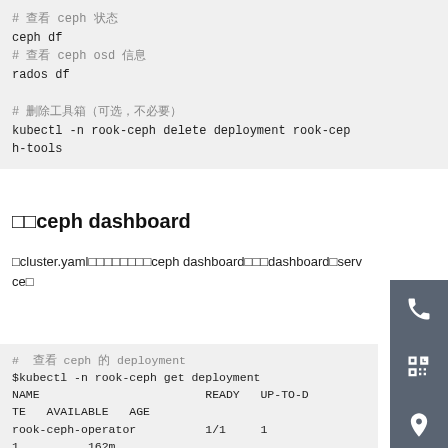# 查看 ceph 状态
ceph df
# 查看 ceph osd 信息
rados df

# 删除工具箱（可选，不必要）
kubectl -n rook-ceph delete deployment rook-ceph-tools
查看ceph dashboard
在cluster.yaml中已经开启了ceph dashboard，查看dashboard的service：
# 查看 ceph 的 deployment
$kubectl -n rook-ceph get deployment
NAME                            READY   UP-TO-DATE   AVAILABLE   AGE
rook-ceph-operator              1/1     1            1           162m
csi-cephfsplugin-provisioner    2/2     2            2           157m